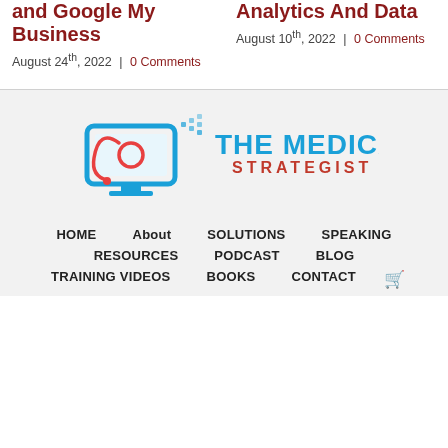and Google My Business
August 24th, 2022 | 0 Comments
Analytics And Data
August 10th, 2022 | 0 Comments
[Figure (logo): The Medical Strategist logo with a computer monitor icon and stethoscope, blue and red color scheme]
HOME
About
SOLUTIONS
SPEAKING
RESOURCES
PODCAST
BLOG
TRAINING VIDEOS
BOOKS
CONTACT
🛒